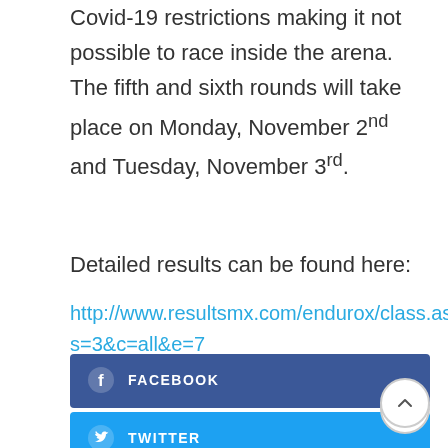Covid-19 restrictions making it not possible to race inside the arena. The fifth and sixth rounds will take place on Monday, November 2nd and Tuesday, November 3rd.
Detailed results can be found here:
http://www.resultsmx.com/endurox/class.asp?s=3&c=all&e=7
[Figure (other): Facebook share button with Facebook icon and label FACEBOOK]
[Figure (other): Twitter share button with Twitter bird icon and label TWITTER, with a scroll-to-top circular button overlapping]
[Figure (other): LinkedIn share button with LinkedIn icon and label LINKEDIN]